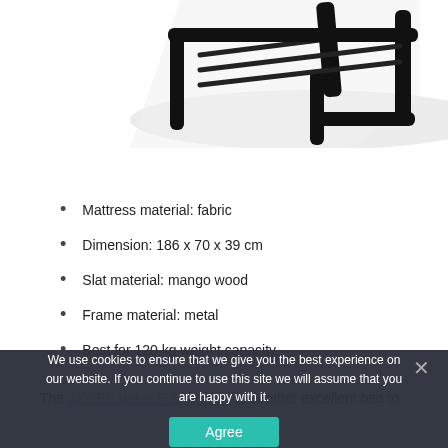[Figure (photo): Partial view of a black metal folding bed frame with slatted base, photographed on white background. Only the lower right portion of the bed frame is visible.]
Specification:
Mattress material: fabric
Dimension: 186 x 70 x 39 cm
Slat material: mango wood
Frame material: metal
Best for 120 kg weight capacity
The JAY-BE Value Folding Bed is another excellent bed to
We use cookies to ensure that we give you the best experience on our website. If you continue to use this site we will assume that you are happy with it.